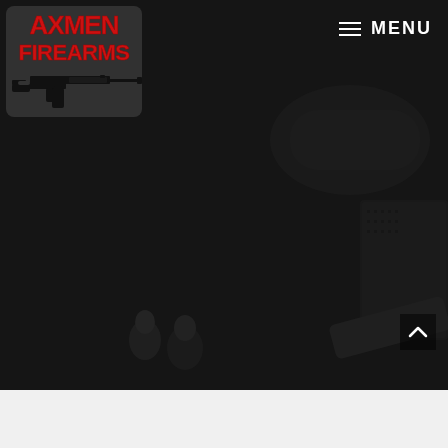[Figure (screenshot): Dark background image showing firearms, tactical gear, bullets and accessories arranged on a surface. Dark/moody photography.]
[Figure (logo): Axmen Firearms logo featuring bold red text 'AXMEN FIREARMS' with a black AR-15 style rifle silhouette beneath the text]
MENU